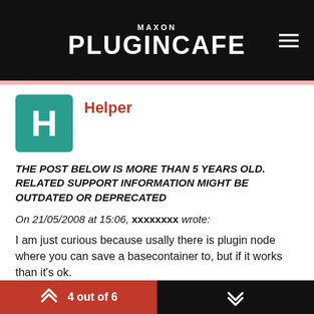MAXON PLUGINCAFE
Helper
THE POST BELOW IS MORE THAN 5 YEARS OLD. RELATED SUPPORT INFORMATION MIGHT BE OUTDATED OR DEPRECATED
On 21/05/2008 at 15:06, xxxxxxxx wrote:
I am just curious because usally there is plugin node where you can save a basecontainer to, but if it works than it's ok.
cheers,
Matthias
4 out of 6